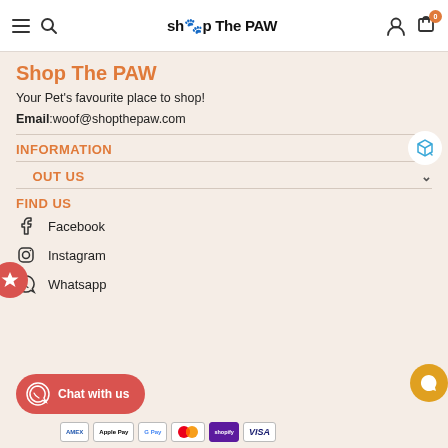Shop The Paw - navigation bar with menu, search, logo, account, cart (0)
Shop The Paw
Your Pet's favourite place to shop!
Email:woof@shopthepaw.com
INFORMATION
ABOUT US
FIND US
Facebook
Instagram
Whatsapp
Chat with us